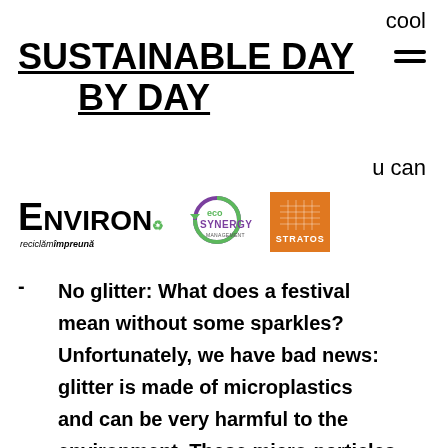cool
SUSTAINABLE DAY BY DAY
u can
[Figure (logo): Three logos: Environ (recycling brand), eco SYNERGY, and STRATOS (orange square logo)]
No glitter: What does a festival mean without some sparkles? Unfortunately, we have bad news: glitter is made of microplastics and can be very harmful to the environment. These micro-particles need 400 years or more to